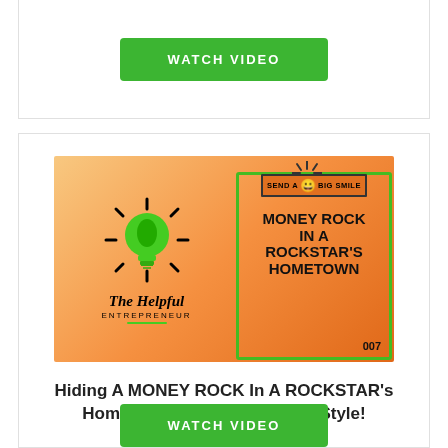[Figure (other): Green WATCH VIDEO button in top card section]
[Figure (illustration): Thumbnail image showing The Helpful Entrepreneur logo on the left (lightbulb with green flame, text 'The Helpful Entrepreneur') and on the right a green-bordered box on orange background with 'SEND A BIG SMILE' header with smiley emoji, and large bold text 'MONEY ROCK IN A ROCKSTAR'S HOMETOWN 007']
Hiding A MONEY ROCK In A ROCKSTAR's Hometown ENTREPRENEUR Style!
[Figure (other): Green WATCH VIDEO button at bottom of second card]